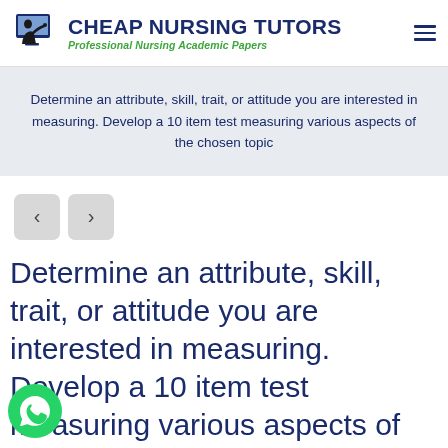CHEAP NURSING TUTORS — Professional Nursing Academic Papers
Determine an attribute, skill, trait, or attitude you are interested in measuring. Develop a 10 item test measuring various aspects of the chosen topic
Determine an attribute, skill, trait, or attitude you are interested in measuring. Develop a 10 item test measuring various aspects of the chosen topic